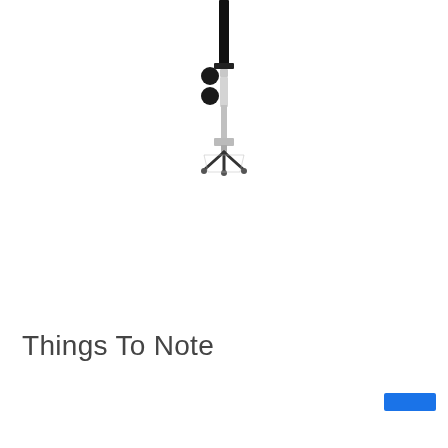[Figure (photo): A vertical adjustable stand or pole assembly with black upper section, silver/chrome middle section with two black clamp knobs, and a clear/transparent base tripod at the bottom. The assembly is photographed against a white background.]
Things To Note